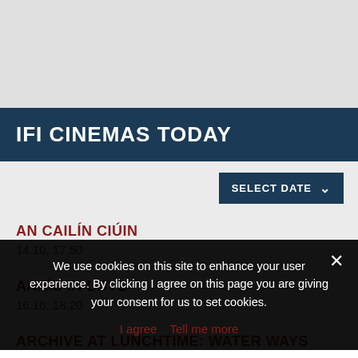[Figure (other): Gray banner image placeholder at top of page]
IFI CINEMAS TODAY
SELECT DATE
AN CAILÍN CIÚIN
14.10, 17.50
ANAÏS IN LOVE
16.10, 18.20
ARCHIVE AT LUNCHTIME: WATER WAYS
We use cookies on this site to enhance your user experience. By clicking I agree on this page you are giving your consent for us to set cookies.
I agree   Tell me more